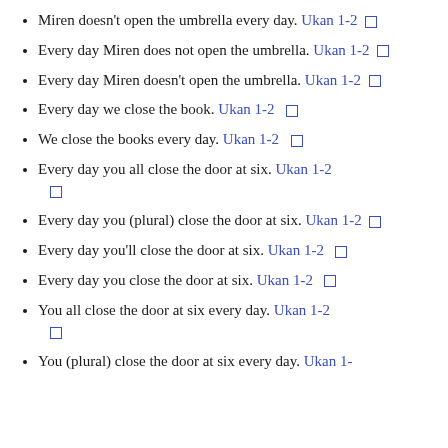Miren doesn't open the umbrella every day. Ukan 1-2 □
Every day Miren does not open the umbrella. Ukan 1-2 □
Every day Miren doesn't open the umbrella. Ukan 1-2 □
Every day we close the book. Ukan 1-2 □
We close the books every day. Ukan 1-2 □
Every day you all close the door at six. Ukan 1-2 □
Every day you (plural) close the door at six. Ukan 1-2 □
Every day you'll close the door at six. Ukan 1-2 □
Every day you close the door at six. Ukan 1-2 □
You all close the door at six every day. Ukan 1-2 □
You (plural) close the door at six every day. Ukan 1-